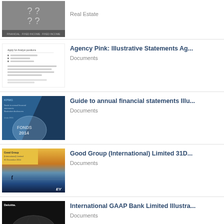[Figure (screenshot): Thumbnail of a document with question marks, labeled Real Estate]
Real Estate
[Figure (screenshot): Thumbnail of a text document]
Agency Pink: Illustrative Statements Ag...
Documents
[Figure (screenshot): KPMG blue cover with FONDS 2014 text]
Guide to annual financial statements Illu...
Documents
[Figure (screenshot): EY cover with yellow block and ocean/sunset background]
Good Group (International) Limited 31D...
Documents
[Figure (screenshot): Deloitte black cover with oval/globe graphic]
International GAAP Bank Limited Illustra...
Documents